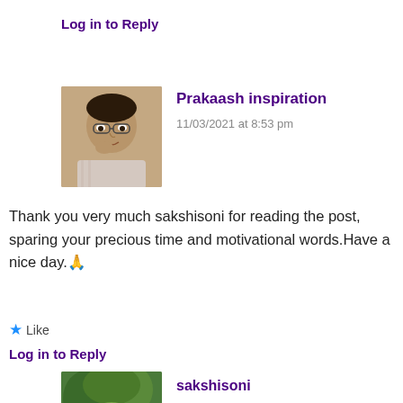Log in to Reply
[Figure (photo): Profile photo of Prakaash inspiration - man with glasses]
Prakaash inspiration
11/03/2021 at 8:53 pm
Thank you very much sakshisoni for reading the post, sparing your precious time and motivational words.Have a nice day.🙏
⭐ Like
Log in to Reply
[Figure (photo): Profile photo of sakshisoni - outdoor photo]
sakshisoni
10/03/2021 at 1:57 pm